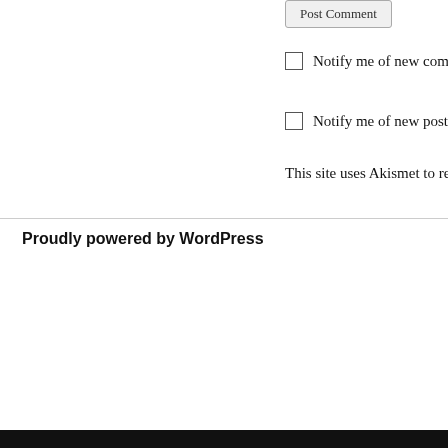Post Comment
Notify me of new comme...
Notify me of new posts vi...
This site uses Akismet to redu...
Proudly powered by WordPress